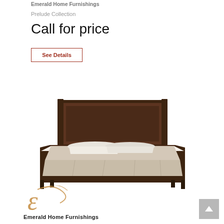Emerald Home Furnishings
Prelude Collection
Call for price
See Details
[Figure (photo): Dark walnut wood bed frame (queen/king size) with panel headboard and footboard, dressed with white and beige bedding including pillows, viewed from a 3/4 angle]
[Figure (logo): Emerald Home Furnishings logo with decorative script E in gold/tan color above the company name in bold black text]